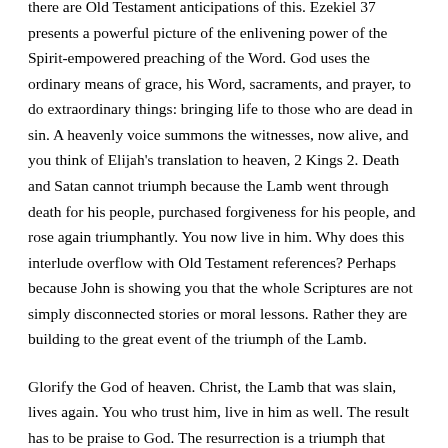there are Old Testament anticipations of this. Ezekiel 37 presents a powerful picture of the enlivening power of the Spirit-empowered preaching of the Word. God uses the ordinary means of grace, his Word, sacraments, and prayer, to do extraordinary things: bringing life to those who are dead in sin. A heavenly voice summons the witnesses, now alive, and you think of Elijah's translation to heaven, 2 Kings 2. Death and Satan cannot triumph because the Lamb went through death for his people, purchased forgiveness for his people, and rose again triumphantly. You now live in him. Why does this interlude overflow with Old Testament references? Perhaps because John is showing you that the whole Scriptures are not simply disconnected stories or moral lessons. Rather they are building to the great event of the triumph of the Lamb.
Glorify the God of heaven. Christ, the Lamb that was slain, lives again. You who trust him, live in him as well. The result has to be praise to God. The resurrection is a triumph that